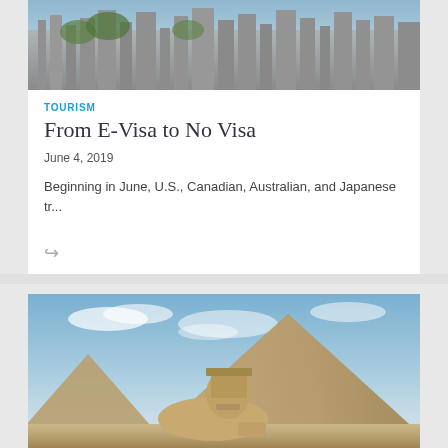[Figure (photo): Aerial view of a dense city skyline with tall buildings and greenery]
TOURISM
From E-Visa to No Visa
June 4, 2019
Beginning in June, U.S., Canadian, Australian, and Japanese tr...
[Figure (photo): The Great Sphinx of Giza with a large pyramid in the background under a blue sky with clouds]